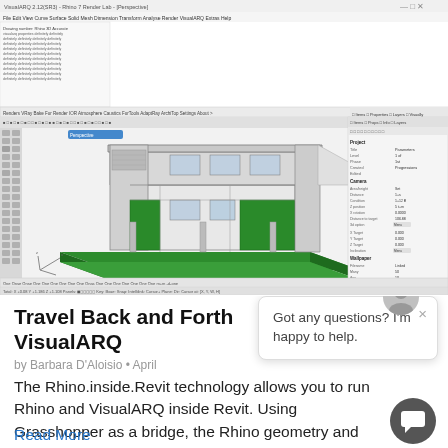[Figure (screenshot): Screenshot of VisualARQ software running inside Rhino3D showing a 3D architectural building model with green base platform, white/gray structure, and property panels on the right side.]
Travel Back and Forth VisualARQ
by Barbara D'Aloisio • April
The Rhino.inside.Revit technology allows you to run Rhino and VisualARQ inside Revit. Using Grasshopper as a bridge, the Rhino geometry and VisualARQ d
Got any questions? I'm happy to help.
Read More